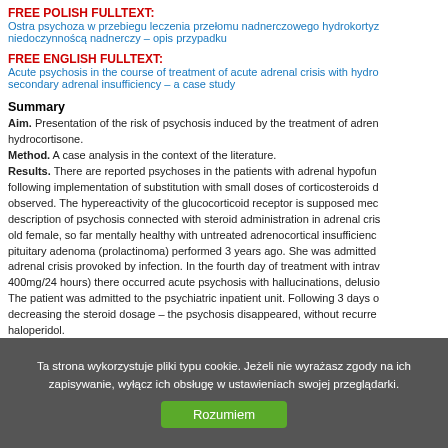FREE POLISH FULLTEXT: Ostra psychoza w przebiegu leczenia przełomu nadnerczowego hydrokortyzją z niedoczynnoścą nadnerczy – opis przypadku
FREE ENGLISH FULLTEXT: Acute psychosis in the course of treatment of acute adrenal crisis with hydro secondary adrenal insufficiency – a case study
Summary
Aim. Presentation of the risk of psychosis induced by the treatment of adren hydrocortisone. Method. A case analysis in the context of the literature. Results. There are reported psychoses in the patients with adrenal hypofun following implementation of substitution with small doses of corticosteroids d observed. The hypereactivity of the glucocorticoid receptor is supposed mec description of psychosis connected with steroid administration in adrenal cris old female, so far mentally healthy with untreated adrenocortical insufficienc pituitary adenoma (prolactinoma) performed 3 years ago. She was admitted adrenal crisis provoked by infection. In the fourth day of treatment with intrav 400mg/24 hours) there occurred acute psychosis with hallucinations, delusio The patient was admitted to the psychiatric inpatient unit. Following 3 days o decreasing the steroid dosage – the psychosis disappeared, without recurre haloperidol. Conclusions. The case focuses attention on the risk of psychosis connecte crisis with high doses of Hydrocortisone. Because of the risk of psychiatric c with high doses of corticosteroids, require an evaluation of risk factors for me precautions in cooperation of endocrinologist and psychiatrist.
Ta strona wykorzystuje pliki typu cookie. Jeżeli nie wyrażasz zgody na ich zapisywanie, wyłącz ich obsługę w ustawieniach swojej przeglądarki.
Rozumiem